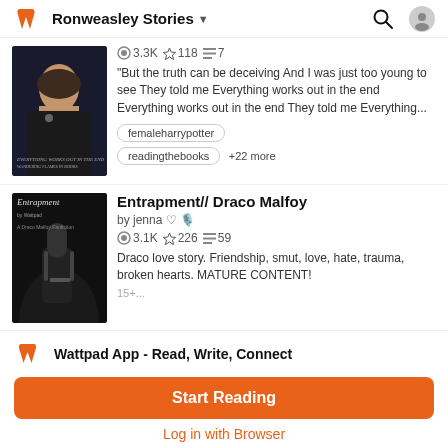Ronweasley Stories
[Figure (screenshot): Story cover image - woman with long hair in dark clothing]
3.3K ★118 ≡7
"But the truth can be deceiving And I was just too young to see They told me Everything works out in the end Everything works out in the end They told me Everything...
femaleharrypotter
readingthebooks  +22 more
Entrapment// Draco Malfoy
[Figure (screenshot): Book cover for Entrapment - dark cover with a fist]
by jenna ♡ 🎙
3.1K ★226 ≡59
Draco love story. Friendship, smut, love, hate, trauma, broken hearts. MATURE CONTENT!
Wattpad App - Read, Write, Connect
Start Reading
Log in with Browser